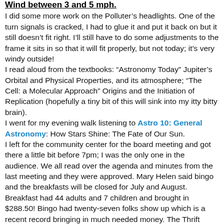Wind between 3 and 5 mph.
I did some more work on the Polluter’s headlights. One of the turn signals is cracked, I had to glue it and put it back on but it still doesn’t fit right. I’ll still have to do some adjustments to the frame it sits in so that it will fit properly, but not today; it’s very windy outside!
I read aloud from the textbooks: “Astronomy Today” Jupiter’s Orbital and Physical Properties, and its atmosphere; “The Cell: a Molecular Approach” Origins and the Initiation of Replication (hopefully a tiny bit of this will sink into my itty bitty brain).
I went for my evening walk listening to Astro 10: General Astronomy: How Stars Shine: The Fate of Our Sun.
I left for the community center for the board meeting and got there a little bit before 7pm; I was the only one in the audience. We all read over the agenda and minutes from the last meeting and they were approved. Mary Helen said bingo and the breakfasts will be closed for July and August. Breakfast had 44 adults and 7 children and brought in $288.50! Bingo had twenty-seven folks show up which is a recent record bringing in much needed money. The Thrift Room brought in $133 and $80 for the raffle steak knives that Patrick won. Angelica brainstormed and written a